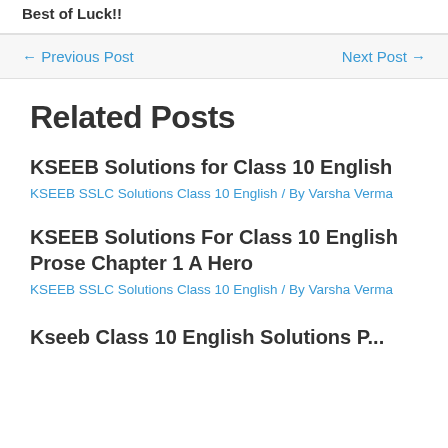Best of Luck!!
← Previous Post    Next Post →
Related Posts
KSEEB Solutions for Class 10 English
KSEEB SSLC Solutions Class 10 English / By Varsha Verma
KSEEB Solutions For Class 10 English Prose Chapter 1 A Hero
KSEEB SSLC Solutions Class 10 English / By Varsha Verma
Kseeb Class 10 English Solutions P...